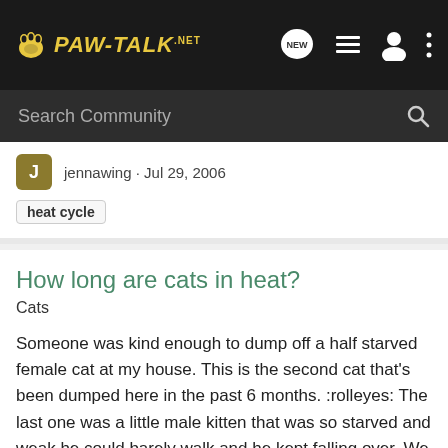PAW-TALK.NET
Search Community
jennawing · Jul 29, 2006
heat cycle
How long are cats in heat?
Cats
Someone was kind enough to dump off a half starved female cat at my house. This is the second cat that's been dumped here in the past 6 months. :rolleyes: The last one was a little male kitten that was so starved and weak he could barely walk and he kept falling over. We brought him in, had him...
12   30K
Scarlette · Jan 10, 2006